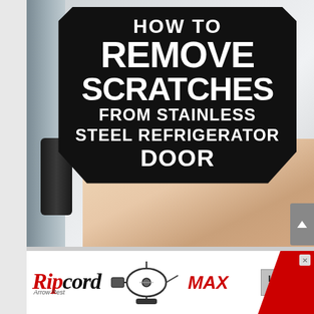[Figure (photo): A how-to article header image showing a stainless steel refrigerator door with a hand touching it, overlaid with a badge/shield graphic containing the text 'HOW TO REMOVE SCRATCHES FROM STAINLESS STEEL REFRIGERATOR DOOR' in bold white text on dark background.]
[Figure (other): Advertisement banner for Ripcord Arrow Rest MAX, featuring the Ripcord logo in red and black italic lettering, an image of a bow rest accessory, MAX text in red italic, and a LEARN MORE button, with a red stripe on the right side.]